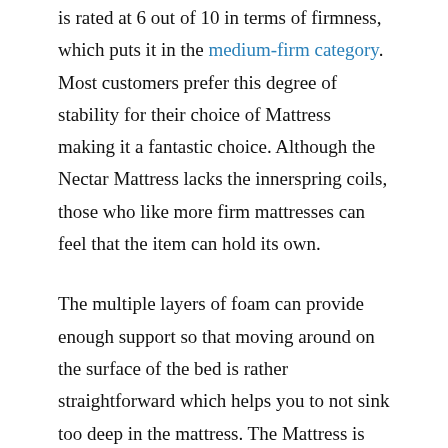is rated at 6 out of 10 in terms of firmness, which puts it in the medium-firm category. Most customers prefer this degree of stability for their choice of Mattress making it a fantastic choice. Although the Nectar Mattress lacks the innerspring coils, those who like more firm mattresses can feel that the item can hold its own.
The multiple layers of foam can provide enough support so that moving around on the surface of the bed is rather straightforward which helps you to not sink too deep in the mattress. The Mattress is designed in such a way that the two top layers provide the majority of the sinking feeling to provide enough cushioning for joints while on a